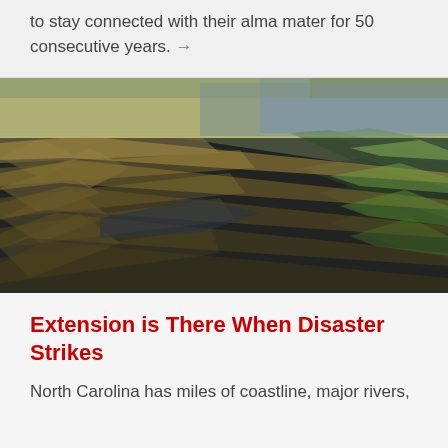to stay connected with their alma mater for 50 consecutive years. →
[Figure (photo): Aerial view of flooded agricultural fields showing rows of crops partially submerged in water, with dry and wet sections visible from above.]
Extension is There When Disaster Strikes
North Carolina has miles of coastline, major rivers,